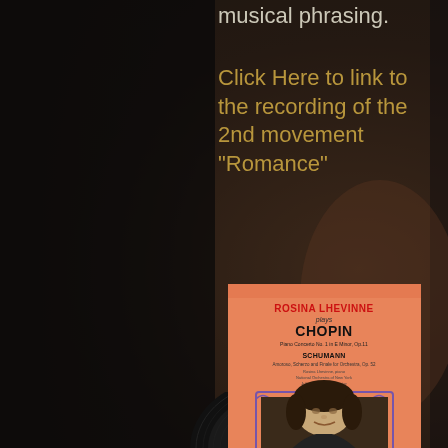musical phrasing.
Click Here to link to the recording of the 2nd movement "Romance"
[Figure (photo): Album cover of Rosina Lhevinne Plays Chopin - Piano Concerto No. 1 in E Minor, Op.11 / Schumann, on orange background with portrait photo of Rosina Lhevinne in decorative purple frame]
[Figure (photo): Black vinyl record partially visible at bottom of page]